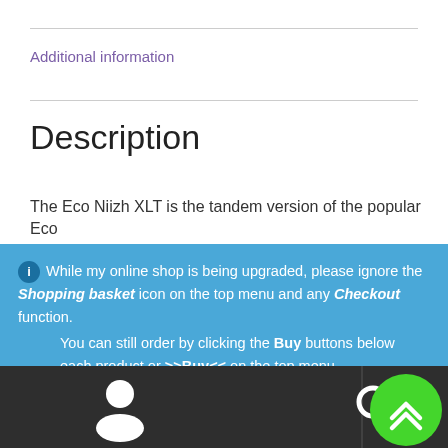Additional information
Description
The Eco Niizh XLT is the tandem version of the popular Eco
ℹ While my online shop is being upgraded, please ignore the Shopping basket icon on the top menu and any Checkout function. You can still order by clicking the Buy buttons below each product or >>Buy<< on the top menu.
Dismiss
[Figure (other): Bottom navigation bar with person icon, search icon, and green scroll-to-top button]